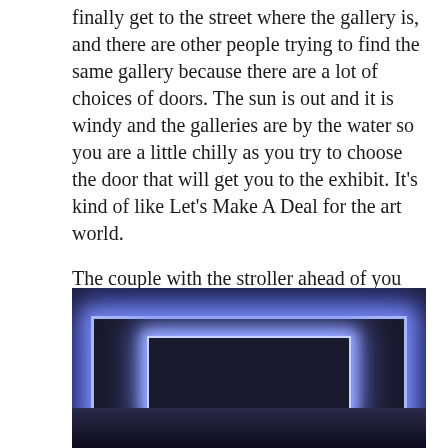finally get to the street where the gallery is, and there are other people trying to find the same gallery because there are a lot of choices of doors. The sun is out and it is windy and the galleries are by the water so you are a little chilly as you try to choose the door that will get you to the exhibit. It's kind of like Let's Make A Deal for the art world.
The couple with the stroller ahead of you have chosen the correct door, which means they win! Which means you win because you get to see the artwork, too! The exhibit on view is a light exhibit. It looks like this.
[Figure (photo): A dark room with a glowing blue-white rectangular light installation on the wall, creating a neon rectangle outline effect with bright blue-purple illumination against a dark background.]